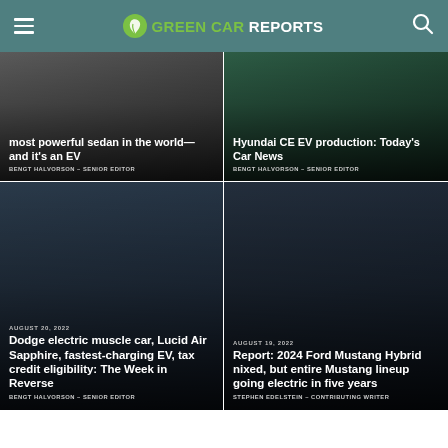GREEN CAR REPORTS
[Figure (photo): Article card with dark car photo background — partial headline about most powerful sedan in the world and it's an EV]
most powerful sedan in the world—and it's an EV
BENGT HALVORSON – SENIOR EDITOR
[Figure (photo): Article card with dark green car photo background — partial headline about Hyundai CE EV production: Today's Car News]
Hyundai CE EV production: Today's Car News
BENGT HALVORSON – SENIOR EDITOR
[Figure (photo): Article card with dramatic sky car photo — Dodge electric muscle car article]
AUGUST 20, 2022
Dodge electric muscle car, Lucid Air Sapphire, fastest-charging EV, tax credit eligibility: The Week in Reverse
BENGT HALVORSON – SENIOR EDITOR
[Figure (photo): Article card with Ford Mustang photo background]
AUGUST 19, 2022
Report: 2024 Ford Mustang Hybrid nixed, but entire Mustang lineup going electric in five years
STEPHEN EDELSTEIN – CONTRIBUTING WRITER